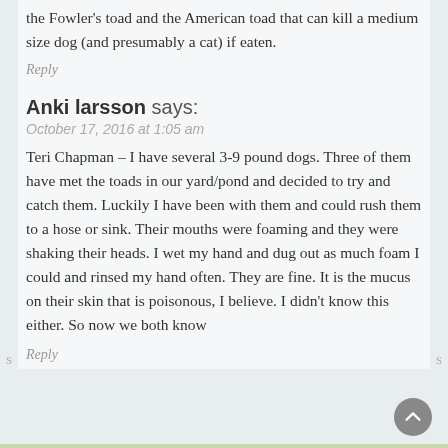the Fowler's toad and the American toad that can kill a medium size dog (and presumably a cat) if eaten.
Reply
Anki larsson says:
October 17, 2016 at 1:05 am
Teri Chapman – I have several 3-9 pound dogs. Three of them have met the toads in our yard/pond and decided to try and catch them. Luckily I have been with them and could rush them to a hose or sink. Their mouths were foaming and they were shaking their heads. I wet my hand and dug out as much foam I could and rinsed my hand often. They are fine. It is the mucus on their skin that is poisonous, I believe. I didn't know this either. So now we both know
Reply